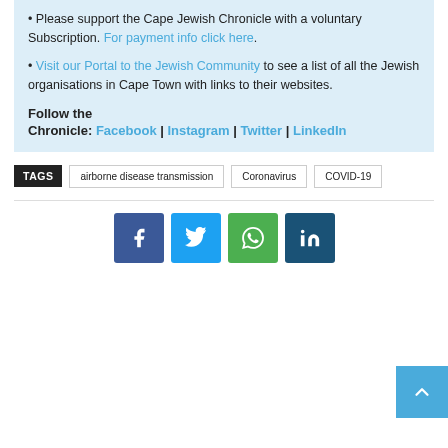• Please support the Cape Jewish Chronicle with a voluntary Subscription. For payment info click here.
• Visit our Portal to the Jewish Community to see a list of all the Jewish organisations in Cape Town with links to their websites.
Follow the Chronicle: Facebook | Instagram | Twitter | LinkedIn
TAGS  airborne disease transmission  Coronavirus  COVID-19
[Figure (other): Social media share buttons: Facebook, Twitter, WhatsApp, LinkedIn. Scroll-to-top button (light blue) in bottom right corner.]